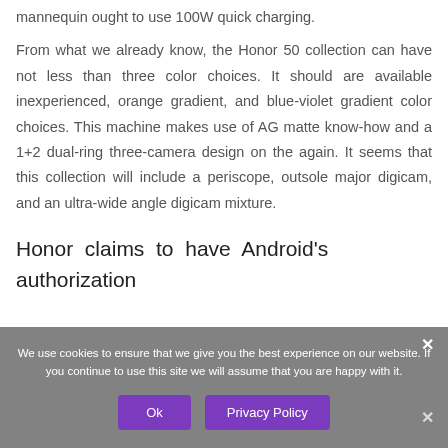mannequin ought to use 100W quick charging.
From what we already know, the Honor 50 collection can have not less than three color choices. It should are available inexperienced, orange gradient, and blue-violet gradient color choices. This machine makes use of AG matte know-how and a 1+2 dual-ring three-camera design on the again. It seems that this collection will include a periscope, outsole major digicam, and an ultra-wide angle digicam mixture.
Honor claims to have Android’s authorization
We use cookies to ensure that we give you the best experience on our website. If you continue to use this site we will assume that you are happy with it.
Ok
Privacy Policy